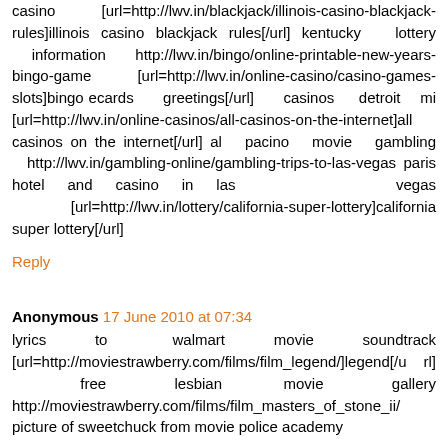casino [url=http://lwv.in/blackjack/illinois-casino-blackjack-rules]illinois casino blackjack rules[/url] kentucky lottery information http://lwv.in/bingo/online-printable-new-years-bingo-game [url=http://lwv.in/online-casino/casino-games-slots]bingo ecards greetings[/url] casinos detroit mi [url=http://lwv.in/online-casinos/all-casinos-on-the-internet]all casinos on the internet[/url] al pacino movie gambling http://lwv.in/gambling-online/gambling-trips-to-las-vegas paris hotel and casino in las vegas [url=http://lwv.in/lottery/california-super-lottery]california super lottery[/url]
Reply
Anonymous 17 June 2010 at 07:34
lyrics to walmart movie soundtrack [url=http://moviestrawberry.com/films/film_legend/]legend[/url] free lesbian movie gallery http://moviestrawberry.com/films/film_masters_of_stone_ii/ picture of sweetchuck from movie police academy